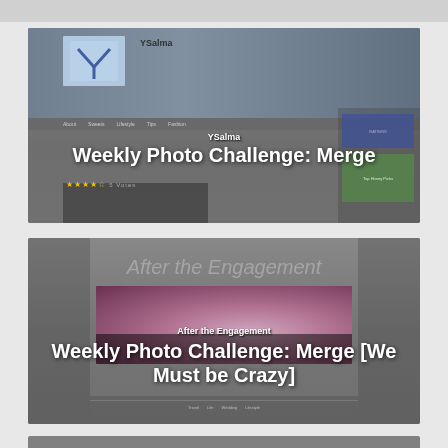[Figure (screenshot): Screenshot of YSalma blog showing 'Weekly Photo Challenge: Merge' post with blog header, navigation, and partial post content]
YSalma
Weekly Photo Challenge: Merge
[Figure (screenshot): Screenshot of 'After the Engagement' blog showing 'Weekly Photo Challenge: Merge [We Must be Crazy]' post with engagement ring photo]
After the Engagement
Weekly Photo Challenge: Merge [We Must be Crazy]
[Figure (screenshot): Partial screenshot of a third blog post, barely visible at bottom of page]